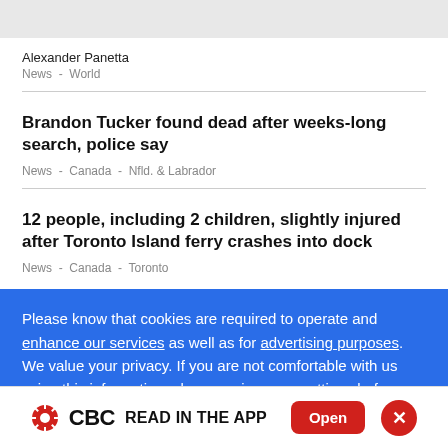Alexander Panetta
News  -  World
Brandon Tucker found dead after weeks-long search, police say
News  -  Canada  -  Nfld. & Labrador
12 people, including 2 children, slightly injured after Toronto Island ferry crashes into dock
News  -  Canada  -  Toronto
Please know that cookies are required to operate and enhance our services as well as for advertising purposes. We value your privacy. If you are not comfortable with us using this information, please review your settings before continuing your visit.
CBC  READ IN THE APP  Open